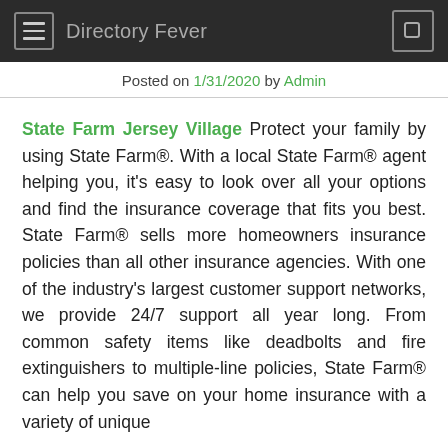Directory Fever
Posted on 1/31/2020 by Admin
State Farm Jersey Village Protect your family by using State Farm®. With a local State Farm® agent helping you, it's easy to look over all your options and find the insurance coverage that fits you best. State Farm® sells more homeowners insurance policies than all other insurance agencies. With one of the industry's largest customer support networks, we provide 24/7 support all year long. From common safety items like deadbolts and fire extinguishers to multiple-line policies, State Farm® can help you save on your home insurance with a variety of unique